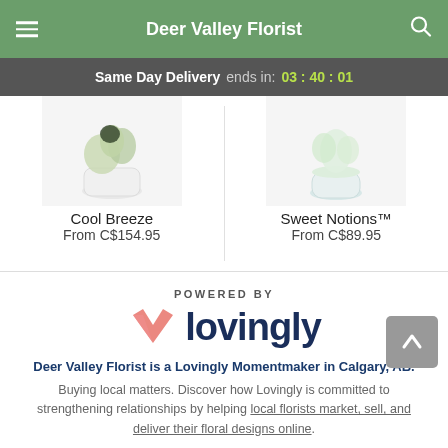Deer Valley Florist
Same Day Delivery ends in: 03 : 40 : 01
[Figure (photo): Product photo of Cool Breeze floral arrangement in a white pot]
Cool Breeze
From C$154.95
[Figure (photo): Product photo of Sweet Notions floral arrangement in a pale blue/white pot]
Sweet Notions™
From C$89.95
POWERED BY
[Figure (logo): Lovingly logo with a pink/red heart icon and the text 'lovingly' in dark navy bold font]
Deer Valley Florist is a Lovingly Momentmaker in Calgary, AB.
Buying local matters. Discover how Lovingly is committed to strengthening relationships by helping local florists market, sell, and deliver their floral designs online.